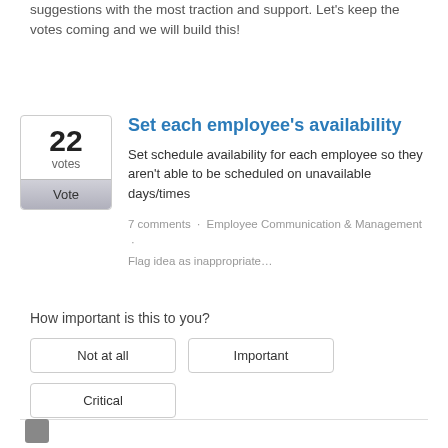suggestions with the most traction and support. Let's keep the votes coming and we will build this!
Set each employee's availability
Set schedule availability for each employee so they aren't able to be scheduled on unavailable days/times
7 comments · Employee Communication & Management · Flag idea as inappropriate…
How important is this to you?
Not at all
Important
Critical